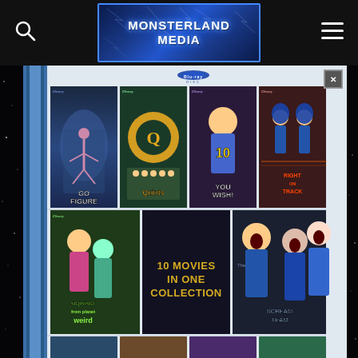Monsterland Media
[Figure (photo): Blu-ray disc case for Disney '10 Movies In One Collection' showing movie covers including Go Figure, Quints, You Wish!, Right on Track, Stepsister from Planet Weird, The Scream Team and others arranged in a grid on the front of the case]